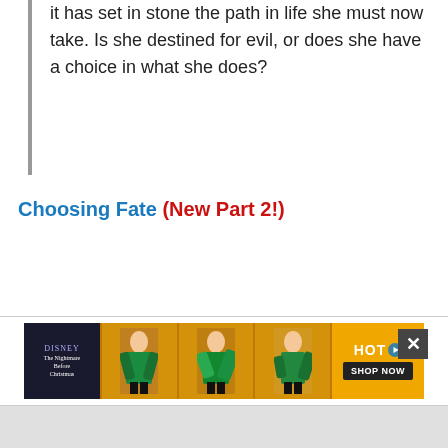it has set in stone the path in life she must now take. Is she destined for evil, or does she have a choice in what she does?
Choosing Fate (New Part 2!)
[Figure (other): Advertisement banner showing a Disney movie or show promotion with a woman in a green outfit against a yellow/orange background, with 'HOT' label and 'SHOP NOW' button, and a close button (X)]